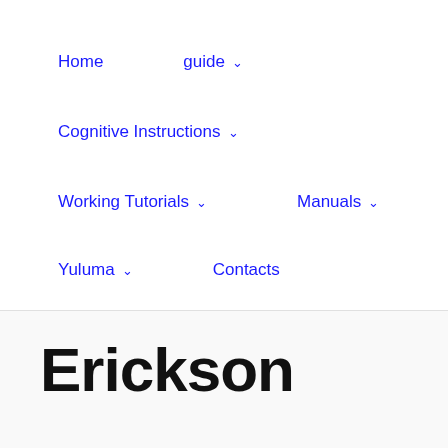Home   guide ⌄   Cognitive Instructions ⌄   Working Tutorials ⌄   Manuals ⌄   Yuluma ⌄   Contacts
Erickson